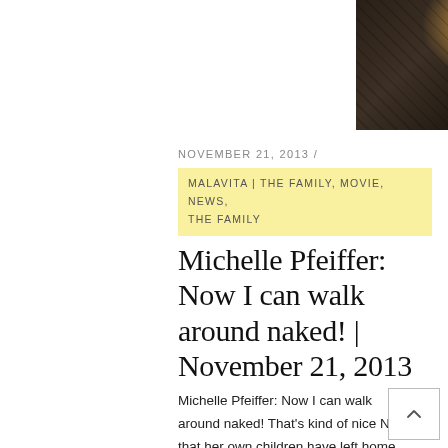[Figure (photo): Partial photo of a woman with blonde/golden hair, wearing a dark floral or lace patterned top, shot from behind/side angle. Dark background.]
NOVEMBER 21, 2013 /
MALAVITA | THE FAMILY, MOVIE, NEWS, THE FAMILY
Michelle Pfeiffer: Now I can walk around naked! | November 21, 2013
Michelle Pfeiffer: Now I can walk around naked! That's kind of nice Now that her own children have left home, Michelle Pfeiffer is planning to make